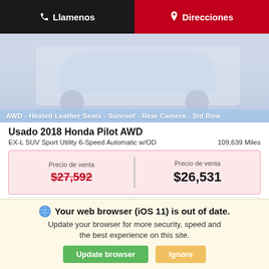Llamenos | Direcciones
[Figure (screenshot): Car image area showing a vehicle (Honda Pilot) partially visible]
AWD - Heated Leather Seats - Sunroof - Rear Camera - 3rd Row
Usado 2018 Honda Pilot AWD
EX-L SUV Sport Utility 6-Speed Automatic w/OD   109,639 Miles
| Precio de venta | Precio de venta |
| --- | --- |
| $27,592 | $26,531 |
Nombre | Apellido
*Email
Teléfono
Your web browser (iOS 11) is out of date. Update your browser for more security, speed and the best experience on this site.
Update browser | Ignore